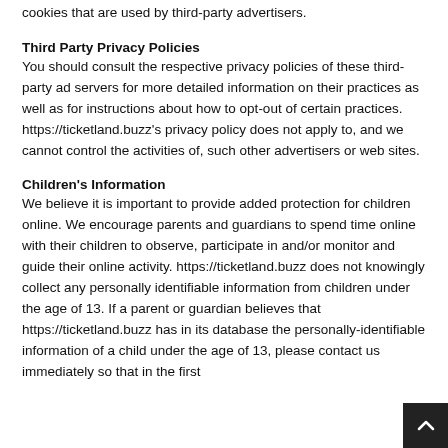https://ticketland.buzz has no access to or control over these cookies that are used by third-party advertisers.
Third Party Privacy Policies
You should consult the respective privacy policies of these third-party ad servers for more detailed information on their practices as well as for instructions about how to opt-out of certain practices. https://ticketland.buzz's privacy policy does not apply to, and we cannot control the activities of, such other advertisers or web sites.
Children's Information
We believe it is important to provide added protection for children online. We encourage parents and guardians to spend time online with their children to observe, participate in and/or monitor and guide their online activity. https://ticketland.buzz does not knowingly collect any personally identifiable information from children under the age of 13. If a parent or guardian believes that https://ticketland.buzz has in its database the personally-identifiable information of a child under the age of 13, please contact us immediately so that in the first...